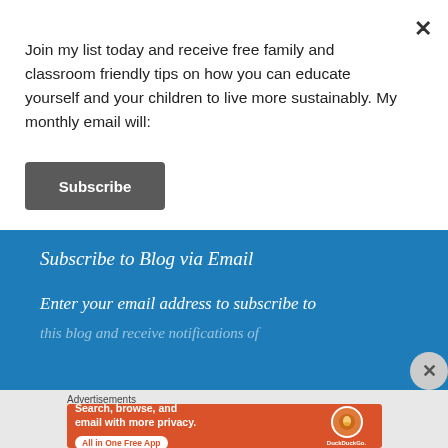Join my list today and receive free family and classroom friendly tips on how you can educate yourself and your children to live more sustainably. My monthly email will:
[Figure (other): Subscribe button - dark grey rounded rectangle with white bold text 'Subscribe']
Subscribe to Blog via Email
Enter your email address to subscribe to this blog and receive notifications of...
Advertisements
[Figure (screenshot): DuckDuckGo advertisement banner on orange/red background. Left side text: 'Search, browse, and email with more privacy.' with white pill button 'All in One Free App'. Right side shows a phone with DuckDuckGo logo.]